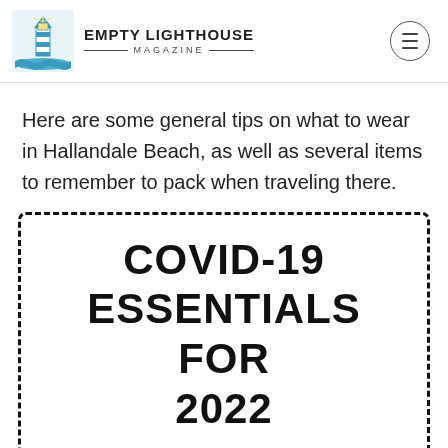EMPTY LIGHTHOUSE MAGAZINE
Here are some general tips on what to wear in Hallandale Beach, as well as several items to remember to pack when traveling there.
[Figure (infographic): Dashed-border box containing large bold text reading: COVID-19 ESSENTIALS FOR 2022]